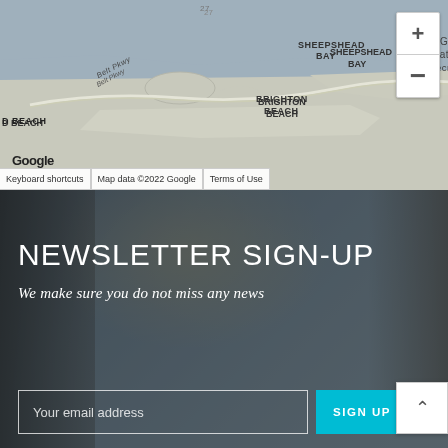[Figure (map): Google Maps screenshot showing coastal area of Brooklyn/Queens NY including Sheepshead Bay, Brighton Beach, Gateway National Recreation Area, Rockaway Beach, with zoom controls (+/-) in top right corner and map attribution bar at bottom showing 'Keyboard shortcuts', 'Map data ©2022 Google', 'Terms of Use']
NEWSLETTER SIGN-UP
We make sure you do not miss any news
Your email address
SIGN UP